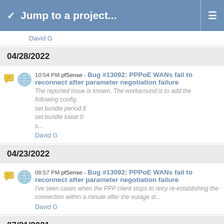Jump to a project...
David G
04/28/2022
10:54 PM pfSense - Bug #13092: PPPoE WANs fail to reconnect after parameter negotiation failure
The reported issue is known. The workaround is to add the following config.
set bundle period 6
set bundle lowat 0
s...
David G
04/23/2022
08:57 PM pfSense - Bug #13092: PPPoE WANs fail to reconnect after parameter negotiation failure
I've seen cases when the PPP client stops to retry re-establishing the connection within a minute after the outage st...
David G
07/21/2021